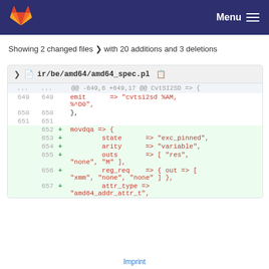Menu
Showing 2 changed files with 20 additions and 3 deletions
ir/be/amd64/amd64_spec.pl
| old_line | new_line | op | code |
| --- | --- | --- | --- |
| ... | ... |  | @@ -649,6 +649,17 @@ CvtSI2SD => { |
| 649 | 649 |  | emit      => "cvtsi2sd %AM, %^D0", |
| 650 | 650 |  | }, |
| 651 | 651 |  |  |
|  | 652 | + | movdqa => { |
|  | 653 | + |     state      => "exc_pinned", |
|  | 654 | + |     arity      => "variable", |
|  | 655 | + |     outs       => [ "res", "none", "M" ], |
|  | 656 | + |     reg_req    => { out => [ "xmm", "none", "none" ] }, |
|  | 657 | + |     attr_type => "amd64_addr_attr_t", |
Imprint